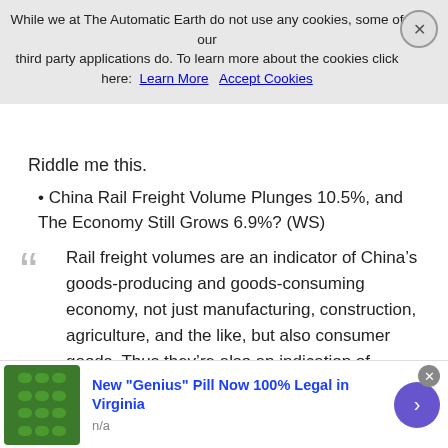While we at The Automatic Earth do not use any cookies, some of our third party applications do. To learn more about the cookies click here: Learn More  Accept Cookies
Riddle me this.
China Rail Freight Volume Plunges 10.5%, and The Economy Still Grows 6.9%? (WS)
Rail freight volumes are an indicator of China’s goods-producing and goods-consuming economy, not just manufacturing, construction, agriculture, and the like, but also consumer goods. Thus they’re also an indication of consumer spending on goods. Alas, rail freight volume is collapsing: the first quarter this year puts volume for the whole year on track to revisit levels not seen since 2007. While China’s economy was strong, rail freight volumes were soaring. For example, in 2010, when China was pump-priming its economy, rail freight volume jumped 10.8% from a year earlier. In 2011, it rose 6.9%. It had soared 44% from 2005 to 2011! But 2011 was the peak. In 2012, volume in
[Figure (screenshot): Advertisement banner: New "Genius" Pill Now 100% Legal in Virginia, n/a, with green pills image and arrow button]